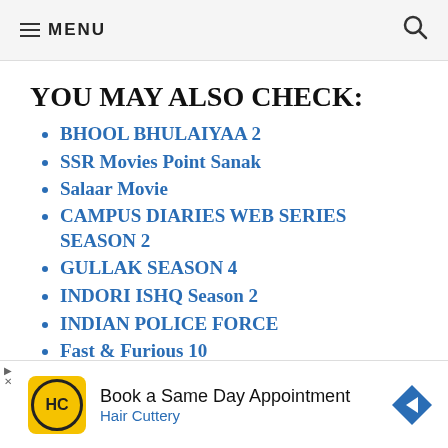≡ MENU
YOU MAY ALSO CHECK:
BHOOL BHULAIYAA 2
SSR Movies Point Sanak
Salaar Movie
CAMPUS DIARIES WEB SERIES SEASON 2
GULLAK SEASON 4
INDORI ISHQ Season 2
INDIAN POLICE FORCE
Fast & Furious 10
[Figure (infographic): Advertisement banner: Hair Cuttery logo, text 'Book a Same Day Appointment', subtitle 'Hair Cuttery', navigation arrow icon]